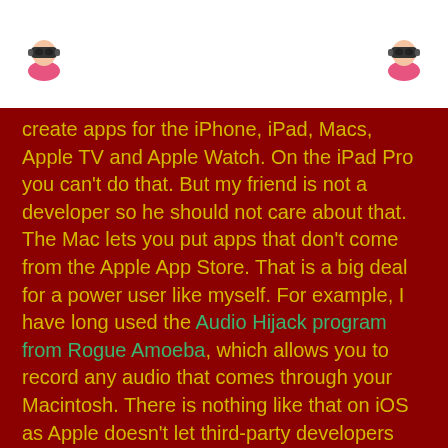[avatar icons left and right]
create apps for the iPhone, iPad, Macs, Apple TV and Apple Watch. On the iPad Pro you can't do that. But my friend is not a developer so he should not care about that. The Mac lets you put apps that don't come from the Apple App Store. That is a big deal for a power user like myself. For example, I have long used the Audio Hijack program from Rogue Amoeba, which allows you to record any audio that comes through your Macintosh. There is nothing like that on iOS as Apple doesn't let third-party developers fool around with the system underneath.¹ Similarly, because your have a Terminal App on the Mac, and because MacOS was built on UNIX, you can put UNIX commands and do crazy stuff on your Mac. On your Mac, you can download Homebrew on the Terminal